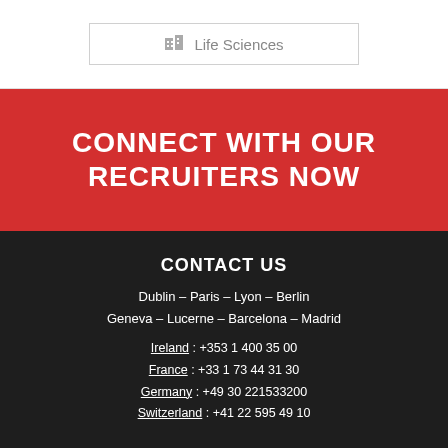Life Sciences
CONNECT WITH OUR RECRUITERS NOW
CONTACT US
Dublin – Paris – Lyon – Berlin
Geneva – Lucerne – Barcelona – Madrid
Ireland : +353 1 400 35 00
France : +33 1 73 44 31 30
Germany : +49 30 221533200
Switzerland : +41 22 595 49 10